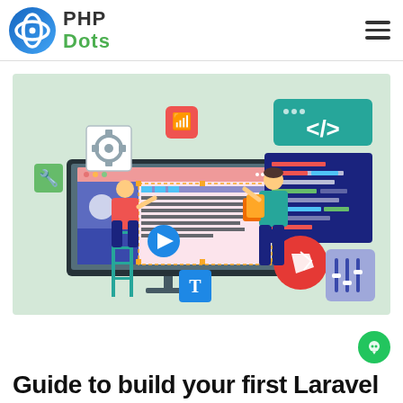PHP Dots
[Figure (illustration): Web development illustration showing two developers working on a large computer monitor with code editor, UI components, a play button. Various tech icons including a wrench, gear, WiFi symbol, code tags, code editor panel with colored lines, Laravel logo, typography T icon, and audio mixer sliders are depicted around the monitor on a light green background.]
Guide to build your first Laravel